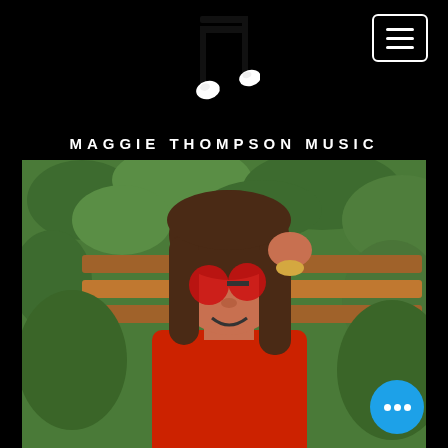[Figure (logo): Musical note icon (two eighth notes) in black and white on black background]
MAGGIE THOMPSON MUSIC
[Figure (photo): Young woman with long brown hair wearing red sunglasses pushed down her nose and a red ribbed top, smiling, with green foliage and wooden fence in background]
[Figure (other): Blue circular chat/more options button with three white dots]